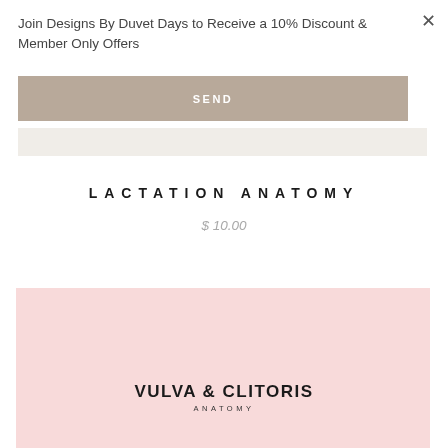Join Designs By Duvet Days to Receive a 10% Discount & Member Only Offers
SEND
LACTATION ANATOMY
$ 10.00
[Figure (illustration): Pink background product card with text VULVA & CLITORIS ANATOMY]
VULVA & CLITORIS ANATOMY